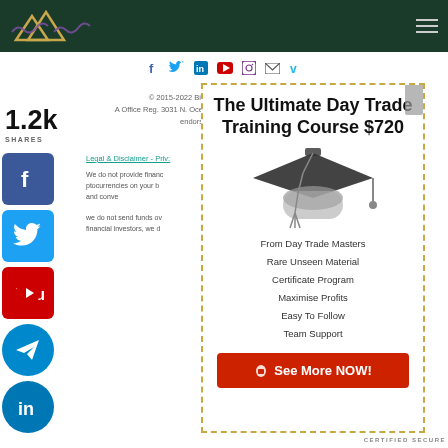WAV logo and navigation header
[Figure (logo): WAV logo with yellow/gold triangles and purple/violet wave lines on dark green background]
[Figure (infographic): Social media icons row: Facebook, Twitter, LinkedIn, YouTube, Instagram, Email, Vimeo]
1.2k SHARES
© 2015-2022 Bit A Office Reg. 3031 N. Oce endors
Legal & Disclaimer - Priv:
We do not provide financ ptocurrencies on your b and conve we do not send funds ov financial investors, we d
[Figure (infographic): Social share buttons column: Facebook (blue), Twitter (light blue), YouTube (red), Telegram (blue), LinkedIn (dark blue)]
[Figure (infographic): Ad box with dashed gold border. Title: The Ultimate Day Trade Training Course $720. Graduation cap image. Features list: From Day Trade Masters, Rare Unseen Material, Certificate Program, Maximise Profits, Easy To Follow, Team Support. Red button: See More NOW!]
CERTIFIED SECURE